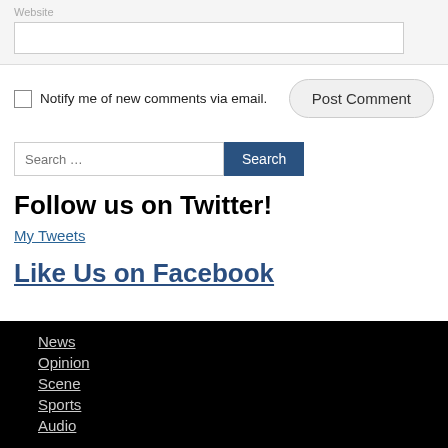Website
Notify me of new comments via email.
Search …
Follow us on Twitter!
My Tweets
Like Us on Facebook
News
Opinion
Scene
Sports
Audio